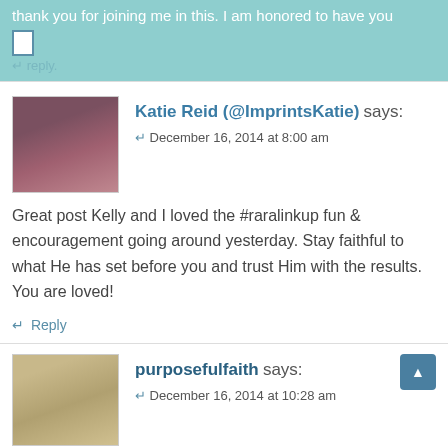thank you for joining me in this. I am honored to have you
↵ reply.
Katie Reid (@ImprintsKatie) says:
↵ December 16, 2014 at 8:00 am
Great post Kelly and I loved the #raralinkup fun & encouragement going around yesterday. Stay faithful to what He has set before you and trust Him with the results. You are loved!
↵ Reply
purposefulfaith says:
↵ December 16, 2014 at 10:28 am
Katie, thank you for joining in. It was a blast to just encourage everyone. I got a real sense that this is what the